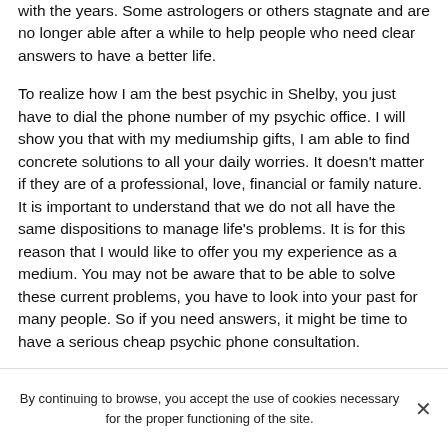with the years. Some astrologers or others stagnate and are no longer able after a while to help people who need clear answers to have a better life.
To realize how I am the best psychic in Shelby, you just have to dial the phone number of my psychic office. I will show you that with my mediumship gifts, I am able to find concrete solutions to all your daily worries. It doesn't matter if they are of a professional, love, financial or family nature. It is important to understand that we do not all have the same dispositions to manage life's problems. It is for this reason that I would like to offer you my experience as a medium. You may not be aware that to be able to solve these current problems, you have to look into your past for many people. So if you need answers, it might be time to have a serious cheap psychic phone consultation.
...
By continuing to browse, you accept the use of cookies necessary for the proper functioning of the site.